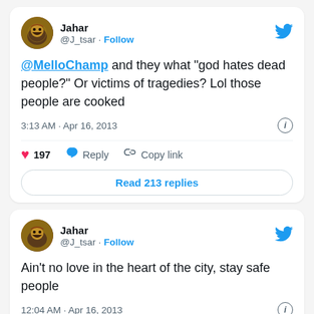[Figure (screenshot): Tweet from Jahar (@J_tsar) saying: @MelloChamp and they what "god hates dead people?" Or victims of tragedies? Lol those people are cooked. Posted 3:13 AM · Apr 16, 2013. 197 likes, Reply, Copy link, Read 213 replies.]
[Figure (screenshot): Tweet from Jahar (@J_tsar) saying: Ain't no love in the heart of the city, stay safe people. Posted 12:04 AM · Apr 16, 2013.]